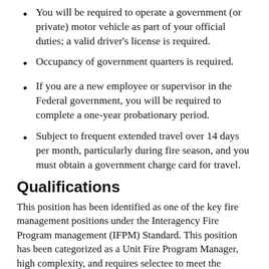You will be required to operate a government (or private) motor vehicle as part of your official duties; a valid driver's license is required.
Occupancy of government quarters is required.
If you are a new employee or supervisor in the Federal government, you will be required to complete a one-year probationary period.
Subject to frequent extended travel over 14 days per month, particularly during fire season, and you must obtain a government charge card for travel.
Qualifications
This position has been identified as one of the key fire management positions under the Interagency Fire Program management (IFPM) Standard. This position has been categorized as a Unit Fire Program Manager, high complexity, and requires selectee to meet the